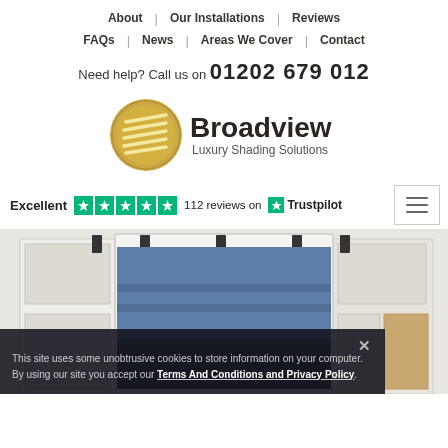About | Our Installations | Reviews | FAQs | News | Areas We Cover | Contact
Need help? Call us on 01202 679 012
[Figure (logo): Broadview Luxury Shading Solutions logo with gold circular emblem]
Excellent ★★★★★ 112 reviews on Trustpilot
[Figure (photo): Interior photo showing blue Roman blinds on white windows with built-in shelving]
This site uses some unobtrusive cookies to store information on your computer. By using our site you accept our Terms And Conditions and Privacy Policy.